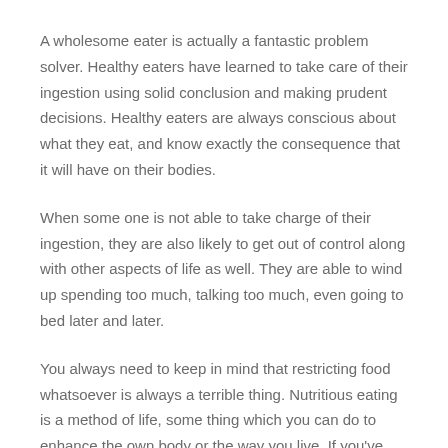A wholesome eater is actually a fantastic problem solver. Healthy eaters have learned to take care of their ingestion using solid conclusion and making prudent decisions. Healthy eaters are always conscious about what they eat, and know exactly the consequence that it will have on their bodies.
When some one is not able to take charge of their ingestion, they are also likely to get out of control along with other aspects of life as well. They are able to wind up spending too much, talking too much, even going to bed later and later.
You always need to keep in mind that restricting food whatsoever is always a terrible thing. Nutritious eating is a method of life, some thing which you can do to enhance the own body or the way you live. If you've thought about making your life better, wholesome eating is simply the spot to get started out. Now you 'll make life easier for yourself, people around you, and even your loved ones.